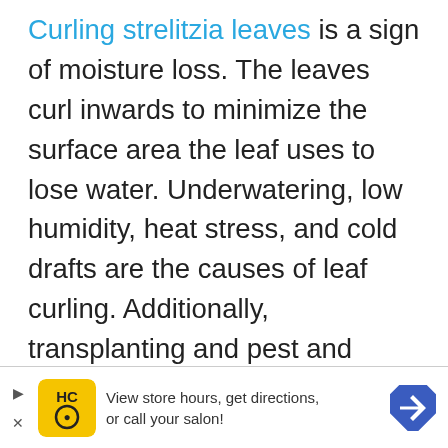Curling strelitzia leaves is a sign of moisture loss. The leaves curl inwards to minimize the surface area the leaf uses to lose water. Underwatering, low humidity, heat stress, and cold drafts are the causes of leaf curling. Additionally, transplanting and pest and diseases could also cause curling leaves.

Curling may result in the leaves withering and even wilting.
[Figure (other): Advertisement banner: Yellow and black HC logo icon, text 'View store hours, get directions, or call your salon!', blue diamond navigation arrow icon, play and close controls on the left.]